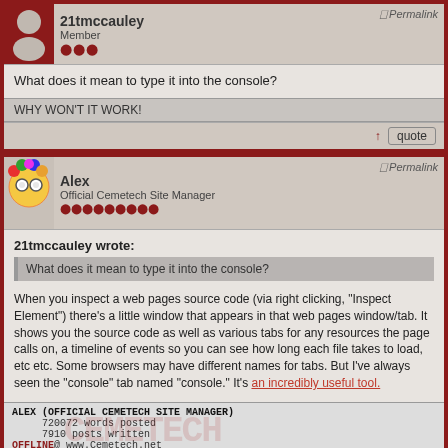21tmccauley
Member
What does it mean to type it into the console?
WHY WON'T IT WORK!
↑ quote
Alex
Official Cemetech Site Manager
Permalink
21tmccauley wrote:
What does it mean to type it into the console?
When you inspect a web pages source code (via right clicking, "Inspect Element") there's a little window that appears in that web pages window/tab. It shows you the source code as well as various tabs for any resources the page calls on, a timeline of events so you can see how long each file takes to load, etc etc. Some browsers may have different names for tabs. But I've always seen the "console" tab named "console." It's an incredibly useful tool.
ALEX (OFFICIAL CEMETECH SITE MANAGER)
720072 words posted
7910 posts written
OFFLINE@ www.Cemetech.net
↑ quote
mr womp womp
Permalink